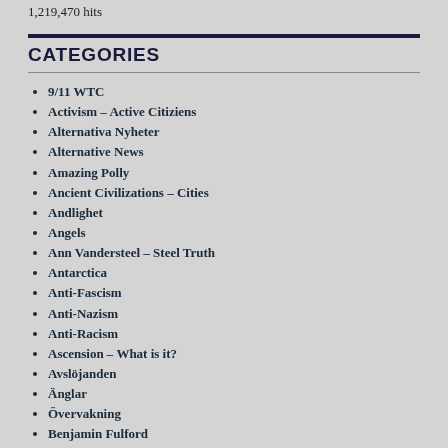1,219,470 hits
CATEGORIES
9/11 WTC
Activism – Active Citiziens
Alternativa Nyheter
Alternative News
Amazing Polly
Ancient Civilizations – Cities
Andlighet
Angels
Ann Vandersteel – Steel Truth
Antarctica
Anti-Fascism
Anti-Nazism
Anti-Racism
Ascension – What is it?
Avslöjanden
Änglar
Övervakning
Benjamin Fulford
Brott Mot Barn & Ungdomar
Brott Mot Mänskligheten